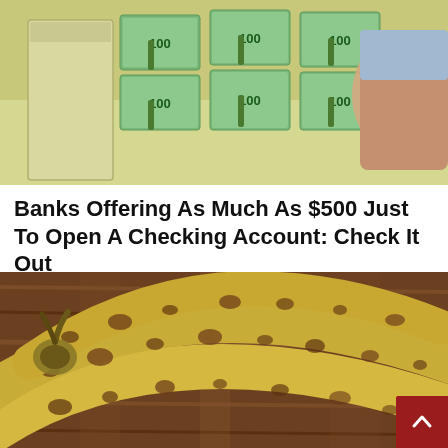[Figure (photo): Stacks of $100 dollar bills bundled with green bands arranged on a light-colored surface, with a person in a blue shirt arranging them]
Banks Offering As Much As $500 Just To Open A Checking Account: Check It Out
Checking Account | Search Ads
[Figure (photo): Three overripe bananas with brown spots lying on a dark wooden surface]